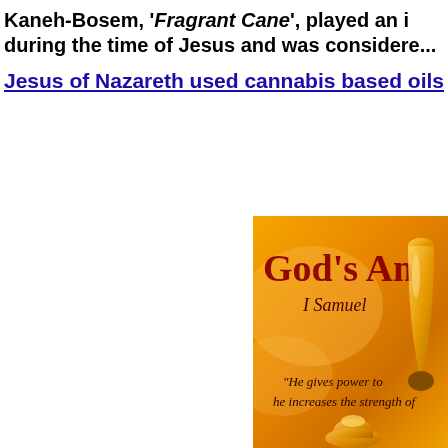Kaneh-Bosem, 'Fragrant Cane', played an important role during the time of Jesus and was considered...
Jesus of Nazareth used cannabis based oils
[Figure (illustration): Orange-background book cover image showing 'God's An...' (God's Anointing) with 'I Samuel' reference, a golden oil drop vessel, and italic text reading '"He gives power to... he increases the strength of...']